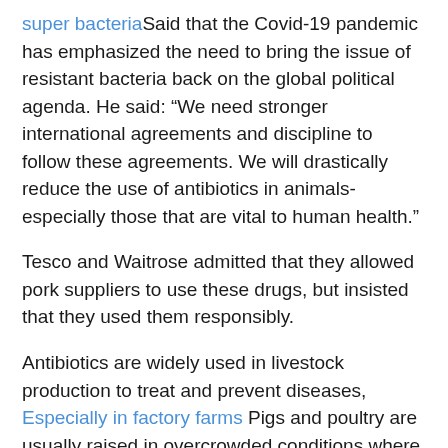super bacteriaSaid that the Covid-19 pandemic has emphasized the need to bring the issue of resistant bacteria back on the global political agenda. He said: “We need stronger international agreements and discipline to follow these agreements. We will drastically reduce the use of antibiotics in animals-especially those that are vital to human health.”
Tesco and Waitrose admitted that they allowed pork suppliers to use these drugs, but insisted that they used them responsibly.
Antibiotics are widely used in livestock production to treat and prevent diseases, Especially in factory farms Pigs and poultry are usually raised in overcrowded conditions where bacteria can multiply. These farms can be used as incubators for potentially deadly human drug-resistant